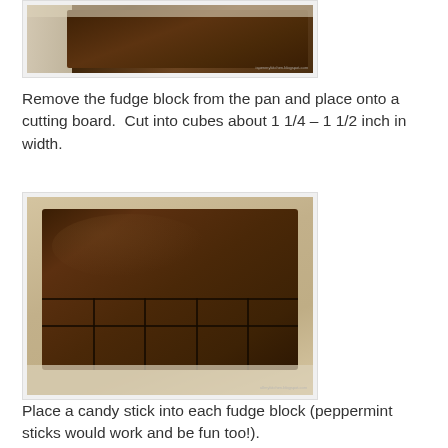[Figure (photo): A fudge block in a pan lined with parchment paper, viewed from the side, showing the dark chocolate fudge against white parchment paper.]
Remove the fudge block from the pan and place onto a cutting board.  Cut into cubes about 1 1/4 – 1 1/2 inch in width.
[Figure (photo): A large dark chocolate fudge block placed on a white parchment-lined cutting board, partially cut into cubes. Several rows of cuts are visible at the bottom and side of the block.]
Place a candy stick into each fudge block (peppermint sticks would work and be fun too!).